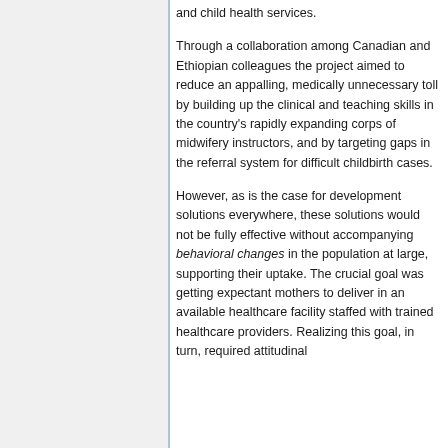and child health services.
Through a collaboration among Canadian and Ethiopian colleagues the project aimed to reduce an appalling, medically unnecessary toll by building up the clinical and teaching skills in the country's rapidly expanding corps of midwifery instructors, and by targeting gaps in the referral system for difficult childbirth cases.
However, as is the case for development solutions everywhere, these solutions would not be fully effective without accompanying behavioral changes in the population at large, supporting their uptake. The crucial goal was getting expectant mothers to deliver in an available healthcare facility staffed with trained healthcare providers. Realizing this goal, in turn, required attitudinal